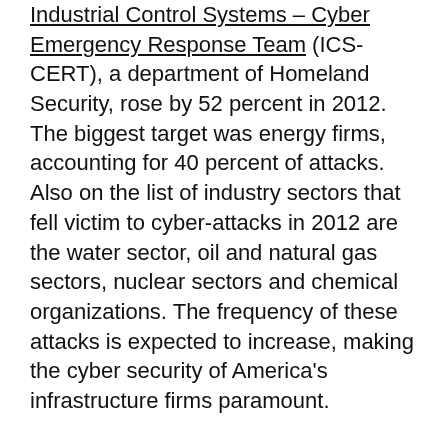Industrial Control Systems – Cyber Emergency Response Team (ICS-CERT), a department of Homeland Security, rose by 52 percent in 2012. The biggest target was energy firms, accounting for 40 percent of attacks. Also on the list of industry sectors that fell victim to cyber-attacks in 2012 are the water sector, oil and natural gas sectors, nuclear sectors and chemical organizations. The frequency of these attacks is expected to increase, making the cyber security of America's infrastructure firms paramount.
Using the internet can often be a necessary evil. One the one hand, it allows people to communicate instantly across countries any time of day. In our world, where entire businesses can be created and maintained online, these same businesses can be taken over by hackers with malicious intent.
Control systems devices that are directly connected or controlled through the internet are of particular concern to ICS-CERT, as malicious control over these systems could